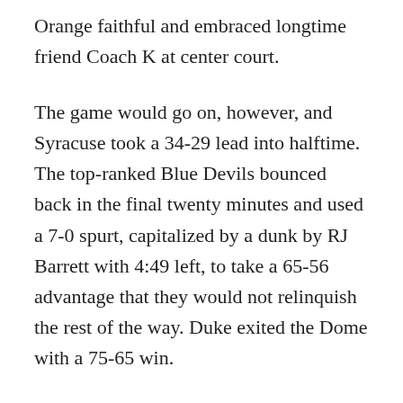Orange faithful and embraced longtime friend Coach K at center court.
The game would go on, however, and Syracuse took a 34-29 lead into halftime. The top-ranked Blue Devils bounced back in the final twenty minutes and used a 7-0 spurt, capitalized by a dunk by RJ Barrett with 4:49 left, to take a 65-56 advantage that they would not relinquish the rest of the way. Duke exited the Dome with a 75-65 win.
The Blue Devils shot 44.1-percent from the field and held Syracuse to just a 34.3-percent. Duke outrebounded the Orange 44-40.
The Blue Devils, who were without the services of likely #1 overall pick in the NBA Draft, Zion